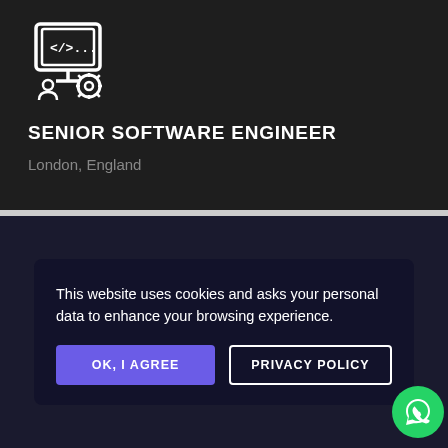[Figure (illustration): White line icon of a computer/monitor displaying code tags with a gear/settings symbol, on dark background]
SENIOR SOFTWARE ENGINEER
London, England
This website uses cookies and asks your personal data to enhance your browsing experience.
OK, I AGREE
PRIVACY POLICY